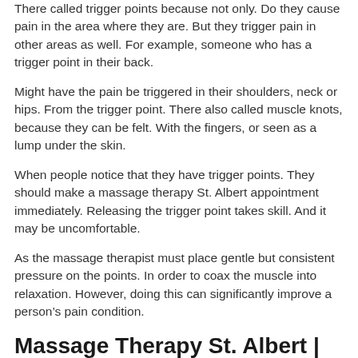There called trigger points because not only. Do they cause pain in the area where they are. But they trigger pain in other areas as well. For example, someone who has a trigger point in their back.
Might have the pain be triggered in their shoulders, neck or hips. From the trigger point. There also called muscle knots, because they can be felt. With the fingers, or seen as a lump under the skin.
When people notice that they have trigger points. They should make a massage therapy St. Albert appointment immediately. Releasing the trigger point takes skill. And it may be uncomfortable.
As the massage therapist must place gentle but consistent pressure on the points. In order to coax the muscle into relaxation. However, doing this can significantly improve a person’s pain condition.
Massage Therapy St. Albert | Massage Can Reduce Body